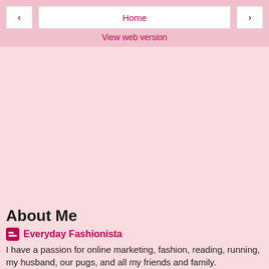Home
View web version
About Me
Everyday Fashionista
I have a passion for online marketing, fashion, reading, running, my husband, our pugs, and all my friends and family.